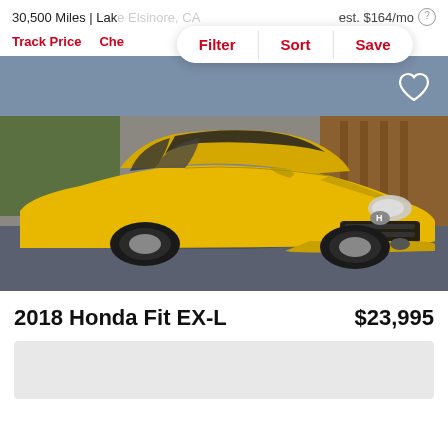30,500 Miles | Lake Elsinore, CA
est. $164/mo
Filter | Sort | Save
Track Price   Check Availability
[Figure (photo): Yellow 2018 Honda Fit EX-L parked in a lot, front three-quarter view, with a heart/save icon in the top right corner of the image.]
2018 Honda Fit EX-L
$23,995